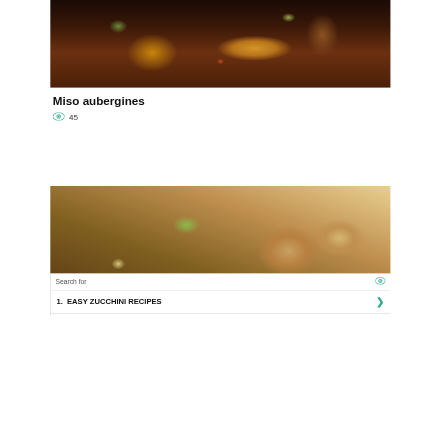[Figure (photo): Overhead shot of miso aubergines on a dark plate with sesame seeds, green onions, chili and sauce]
Miso aubergines
👁 45
[Figure (photo): Close-up of crispy zucchini fritters/patties on a plate with fork visible]
Search for
1. EASY ZUCCHINI RECIPES
2. PARMESAN ZUCCHINI RECIPES
Ad | Business Focus